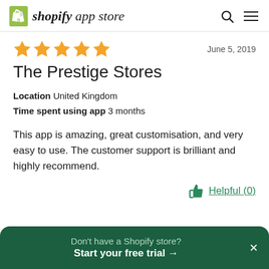shopify app store
★★★★★  June 5, 2019
The Prestige Stores
Location  United Kingdom
Time spent using app  3 months
This app is amazing, great customisation, and very easy to use. The customer support is brilliant and highly recommend.
Helpful (0)
Don't have a Shopify store?
Start your free trial →